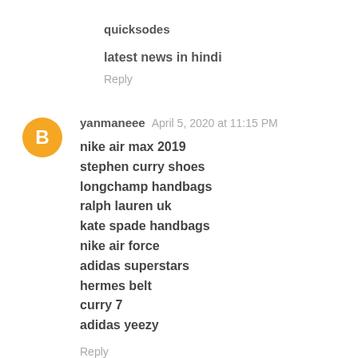quicksodes
latest news in hindi
Reply
yanmaneee  April 5, 2020 at 11:15 PM
nike air max 2019
stephen curry shoes
longchamp handbags
ralph lauren uk
kate spade handbags
nike air force
adidas superstars
hermes belt
curry 7
adidas yeezy
Reply